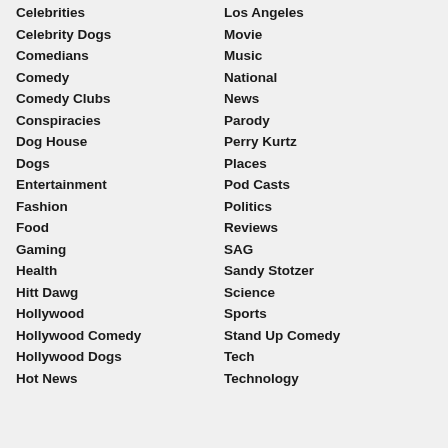Celebrities
Celebrity Dogs
Comedians
Comedy
Comedy Clubs
Conspiracies
Dog House
Dogs
Entertainment
Fashion
Food
Gaming
Health
Hitt Dawg
Hollywood
Hollywood Comedy
Hollywood Dogs
Hot News
Los Angeles
Movie
Music
National
News
Parody
Perry Kurtz
Places
Pod Casts
Politics
Reviews
SAG
Sandy Stotzer
Science
Sports
Stand Up Comedy
Tech
Technology